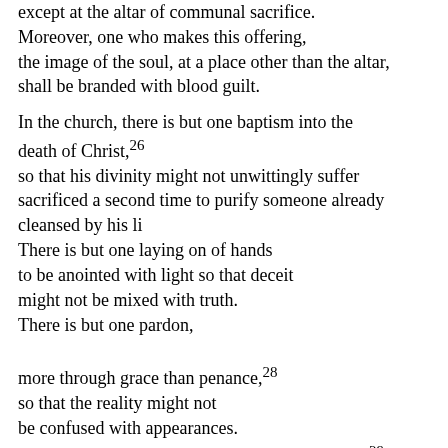except at the altar of communal sacrifice. Moreover, one who makes this offering, the image of the soul, at a place other than the altar, shall be branded with blood guilt.
In the church, there is but one baptism into the death of Christ,26 so that his divinity might not unwittingly suffer sacrificed a second time to purify someone already cleansed by his li There is but one laying on of hands to be anointed with light so that deceit might not be mixed with truth. There is but one pardon, more through grace than penance,28 so that the reality might not be confused with appearances. There is but one doctrine about the trial to come,29 so that the threat of punishment might not seem like mere talk about some stranger.30 There is but one just warning for both of the elements of our nature, so that in the immortal power of the adoption into the kingdom of heaven31 the recompense for good and evil does not appear solely for the inner soul, but